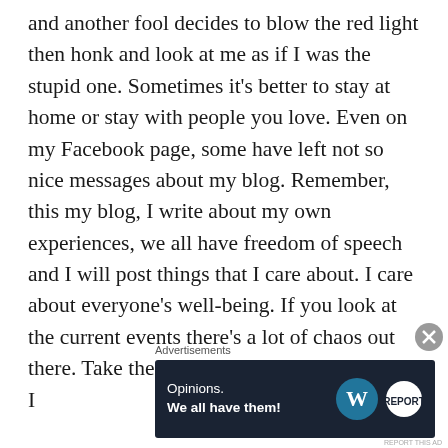and another fool decides to blow the red light then honk and look at me as if I was the stupid one. Sometimes it's better to stay at home or stay with people you love. Even on my Facebook page, some have left not so nice messages about my blog. Remember, this my blog, I write about my own experiences, we all have freedom of speech and I will post things that I care about. I care about everyone's well-being. If you look at the current events there's a lot of chaos out there. Take the recent limo crash or Dr. Ford, I
Advertisements
[Figure (other): Advertisement banner with dark navy background. Left side has text 'Opinions. We all have them!' Right side has WordPress logo (circle with W) and a smaller circular report logo.]